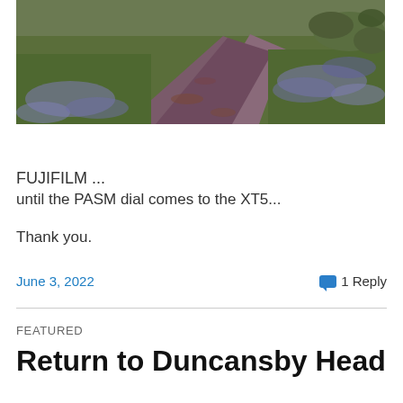[Figure (photo): Outdoor nature scene showing a dirt path winding through green grass and bluebell flowers, with moss-covered rocks in the upper right corner.]
FUJIFILM ...
until the PASM dial comes to the XT5...
Thank you.
June 3, 2022    1 Reply
FEATURED
Return to Duncansby Head